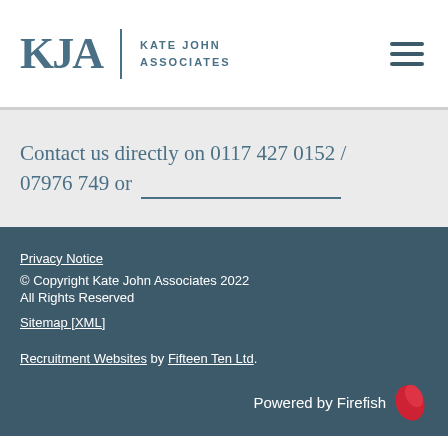[Figure (logo): KJA Kate John Associates logo with hamburger menu icon]
Contact us directly on 0117 427 0152 / 07976 749 or ___
Privacy Notice
© Copyright Kate John Associates 2022
All Rights Reserved
Sitemap [XML]

Recruitment Websites by Fifteen Ten Ltd.

Powered by Firefish